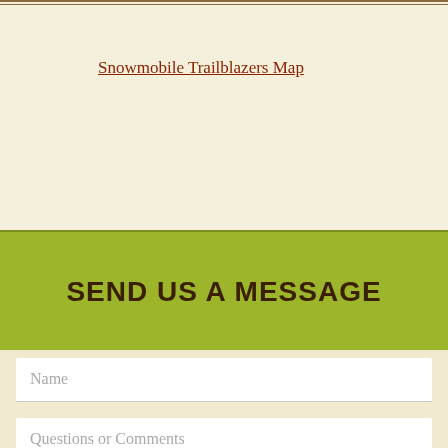Snowmobile Trailblazers Map
SEND US A MESSAGE
Name
Email Address (required)
Questions or Comments